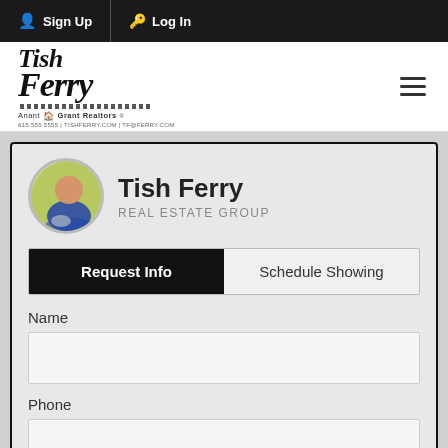Sign Up  Log In
[Figure (logo): Tish Ferry Real Estate Group logo with stylized italic text and Anant Grant Realtors branding]
Tish Ferry
REAL ESTATE GROUP
Request Info
Schedule Showing
Name
Phone